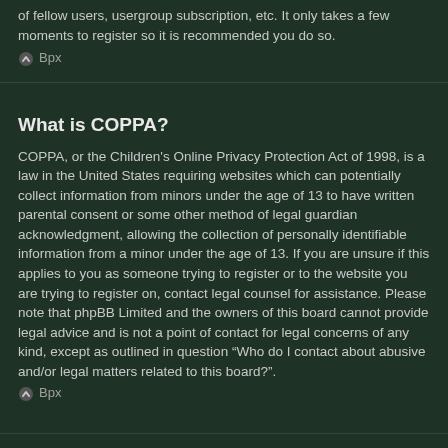of fellow users, usergroup subscription, etc. It only takes a few moments to register so it is recommended you do so.
⌃ Bpx
What is COPPA?
COPPA, or the Children's Online Privacy Protection Act of 1998, is a law in the United States requiring websites which can potentially collect information from minors under the age of 13 to have written parental consent or some other method of legal guardian acknowledgment, allowing the collection of personally identifiable information from a minor under the age of 13. If you are unsure if this applies to you as someone trying to register or to the website you are trying to register on, contact legal counsel for assistance. Please note that phpBB Limited and the owners of this board cannot provide legal advice and is not a point of contact for legal concerns of any kind, except as outlined in question “Who do I contact about abusive and/or legal matters related to this board?”.
⌃ Bpx
Why can’t I register?
It is possible a board administrator has disabled registration to prevent new visitors from signing up. A board administrator could have also banned your IP address or disallowed the username you are attempting to